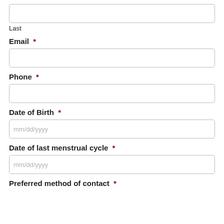Last
Email *
Phone *
Date of Birth *
Date of last menstrual cycle *
Preferred method of contact *